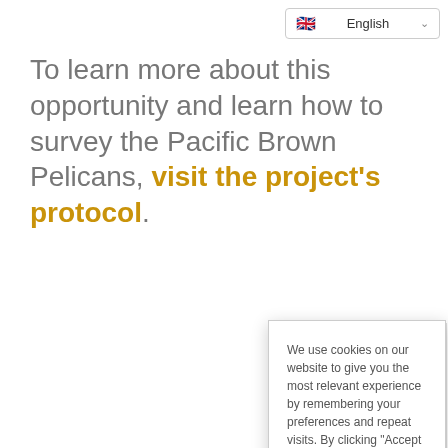English
To learn more about this opportunity and learn how to survey the Pacific Brown Pelicans, visit the project's protocol.
RSVP if you take part in We will co the survey interest an information count will b
We use cookies on our website to give you the most relevant experience by remembering your preferences and repeat visits. By clicking "Accept All", you consent to the use of ALL the cookies. However, you may visit "Cookie Settings" to provide a controlled consent. Cookie Policy Do not sell my personal information